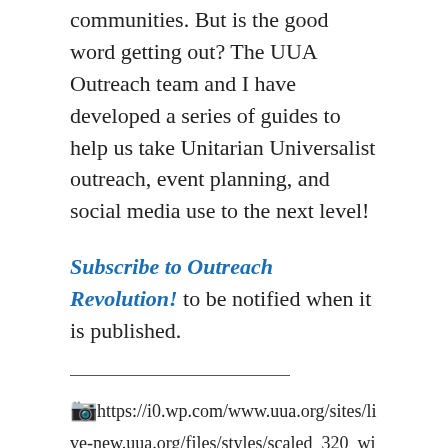communities. But is the good word getting out? The UUA Outreach team and I have developed a series of guides to help us take Unitarian Universalist outreach, event planning, and social media use to the next level!
Subscribe to Outreach Revolution! to be notified when it is published.
[Figure (photo): Broken image placeholder followed by URL: https://i0.wp.com/www.uua.org/sites/live-new.uua.org/files/styles/scaled_320_wide/public/bowden_peter.jpg]
Peter Bowden is a Unitarian Universalist speaker, consultant, and coach. He helps